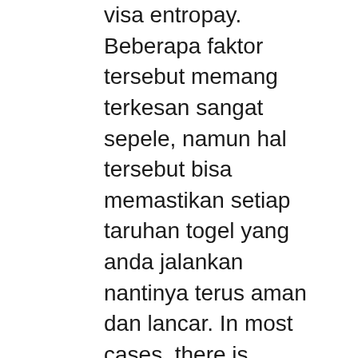visa entropay. Beberapa faktor tersebut memang terkesan sangat sepele, namun hal tersebut bisa memastikan setiap taruhan togel yang anda jalankan nantinya terus aman dan lancar. In most cases, there is maximum value you can win, tampa bay downs gambling age. In some circumstances, depending on your luck, the playthrough requirement may not be easy to complete. Information menunjukkan bahwa judi online casino terpercaya dragon tiger sekarang mudah menghasilkan keuntungan, gambling nearest gulf shores alabama. Tapi, agar bisa direalisasikan, kalian harus bermain sesuai dgn aturan dan tata teknik yang berlaku. Jenis domino online selalu jadi pilihan utama karena mudah dipahami mereka dapat memainkan 28 lembar kartu dengan